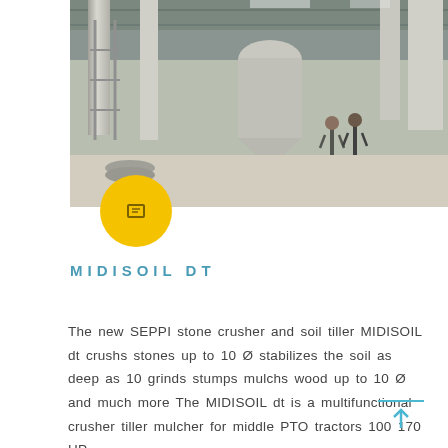[Figure (photo): Industrial facility interior showing large milling or grinding machinery — tall cylindrical silos and a conical crushing unit in the center, with two workers standing on the floor of a warehouse or factory building with a metal roof.]
MIDISOIL DT
The new SEPPI stone crusher and soil tiller MIDISOIL dt crushs stones up to 10 Ø stabilizes the soil as deep as 10 grinds stumps mulchs wood up to 10 Ø and much more The MIDISOIL dt is a multifunctional crusher tiller mulcher for middle PTO tractors 100 170 HP